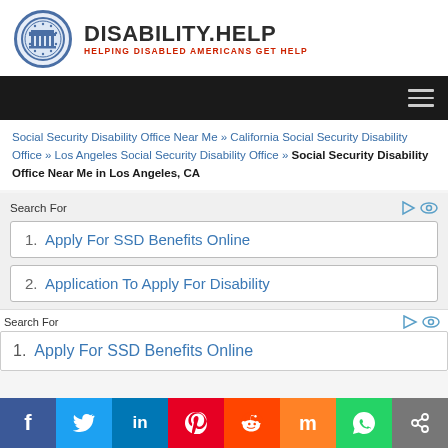DISABILITY.HELP — HELPING DISABLED AMERICANS GET HELP
Social Security Disability Office Near Me » California Social Security Disability Office » Los Angeles Social Security Disability Office » Social Security Disability Office Near Me in Los Angeles, CA
Search For
1. Apply For SSD Benefits Online
2. Application To Apply For Disability
Search For
1. Apply For SSD Benefits Online
f | Twitter | in | Pinterest | Reddit | Mix | WhatsApp | Share